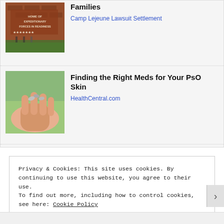[Figure (photo): Brick building sign reading 'Home of Expeditionary Forces in Readiness' with small figures in front]
Families
Camp Lejeune Lawsuit Settlement
[Figure (photo): Close-up of a hand holding small pills or medication]
Finding the Right Meds for Your PsO Skin
HealthCentral.com
Privacy & Cookies: This site uses cookies. By continuing to use this website, you agree to their use.
To find out more, including how to control cookies, see here: Cookie Policy
Close and accept